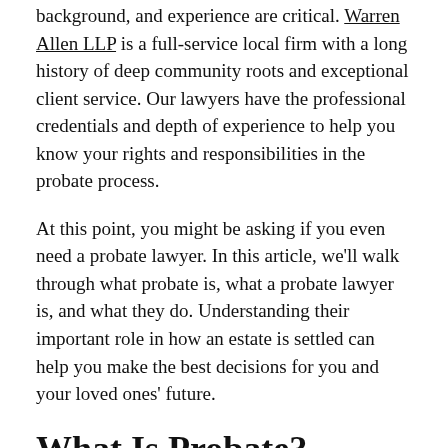background, and experience are critical. Warren Allen LLP is a full-service local firm with a long history of deep community roots and exceptional client service. Our lawyers have the professional credentials and depth of experience to help you know your rights and responsibilities in the probate process.
At this point, you might be asking if you even need a probate lawyer. In this article, we'll walk through what probate is, what a probate lawyer is, and what they do. Understanding their important role in how an estate is settled can help you make the best decisions for you and your loved ones' future.
What Is Probate?
If someone dies owning property, the question of who will own the property next needs to be answered. Probate is the